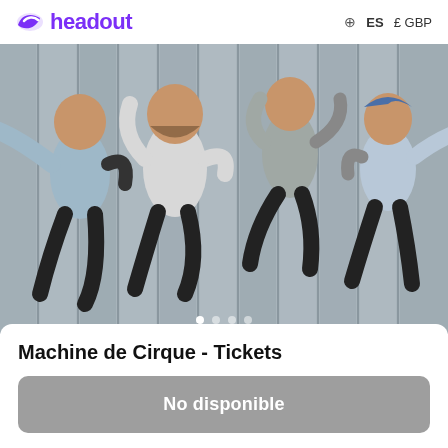headout   ES   £ GBP
[Figure (photo): Four young men jumping joyfully in the air against a wooden plank background, aerial top-down perspective. They are wearing casual clothes including t-shirts and dark pants.]
Machine de Cirque - Tickets
No disponible